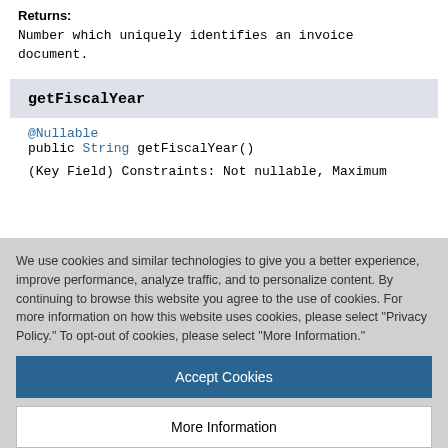Returns:
Number which uniquely identifies an invoice document.
getFiscalYear
@Nullable
public String getFiscalYear()
(Key Field) Constraints: Not nullable, Maximum
We use cookies and similar technologies to give you a better experience, improve performance, analyze traffic, and to personalize content. By continuing to browse this website you agree to the use of cookies. For more information on how this website uses cookies, please select "Privacy Policy." To opt-out of cookies, please select "More Information."
Accept Cookies
More Information
Privacy Policy | Powered by: TrustArc